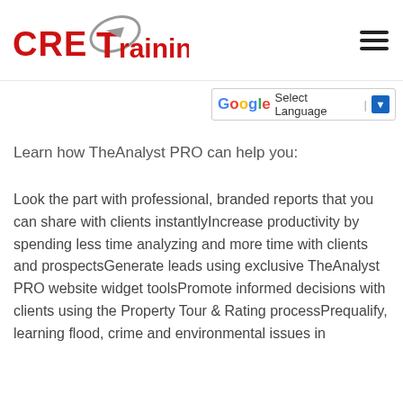CRE Training, LLC
Select Language
Learn how TheAnalyst PRO can help you:
Look the part with professional, branded reports that you can share with clients instantlyIncrease productivity by spending less time analyzing and more time with clients and prospectsGenerate leads using exclusive TheAnalyst PRO website widget toolsPromote informed decisions with clients using the Property Tour & Rating processPrequalify, learning flood, crime and environmental issues in